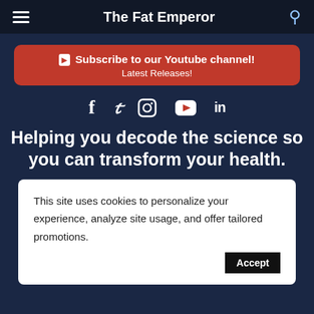The Fat Emperor
[Figure (infographic): YouTube subscribe button banner with text: Subscribe to our Youtube channel! Latest Releases!]
[Figure (infographic): Social media icons: Facebook, Twitter, Instagram, YouTube, LinkedIn]
Helping you decode the science so you can transform your health.
This site uses cookies to personalize your experience, analyze site usage, and offer tailored promotions.